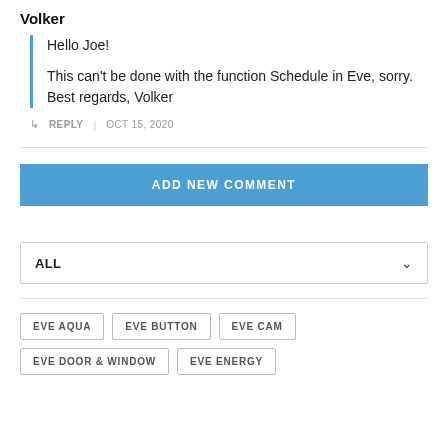Volker
Hello Joe!

This can't be done with the function Schedule in Eve, sorry. Best regards, Volker
↳ REPLY | OCT 15, 2020
ADD NEW COMMENT
ALL
EVE AQUA
EVE BUTTON
EVE CAM
EVE DOOR & WINDOW
EVE ENERGY